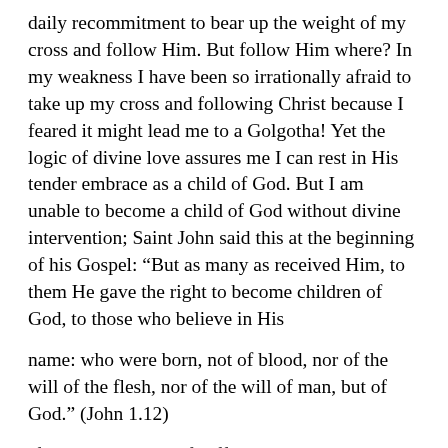daily recommitment to bear up the weight of my cross and follow Him. But follow Him where? In my weakness I have been so irrationally afraid to take up my cross and following Christ because I feared it might lead me to a Golgotha! Yet the logic of divine love assures me I can rest in His tender embrace as a child of God. But I am unable to become a child of God without divine intervention; Saint John said this at the beginning of his Gospel: “But as many as received Him, to them He gave the right to become children of God, to those who believe in His name: who were born, not of blood, nor of the will of the flesh, nor of the will of man, but of God.” (John 1.12)
If I carry my cross of suffering in union with Christ’s redemptive suffering it does not lead to a Golgotha: It led to my realization that Christ can use human suffering to bring us closer to Him, if we will accept it.[20]
Paul wrote in his letter to the Romans, “For I consider that the sufferings of this present time are not worthy